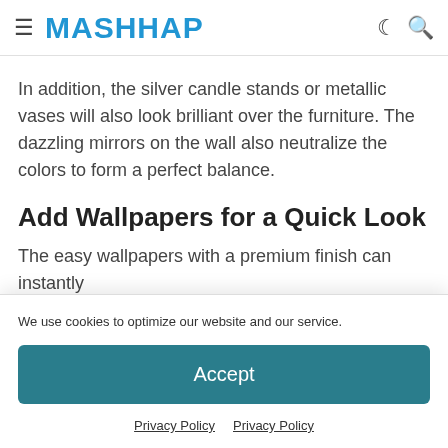≡ MASHHAP
In addition, the silver candle stands or metallic vases will also look brilliant over the furniture. The dazzling mirrors on the wall also neutralize the colors to form a perfect balance.
Add Wallpapers for a Quick Look
The easy wallpapers with a premium finish can instantly
We use cookies to optimize our website and our service.
Accept
Privacy Policy  Privacy Policy